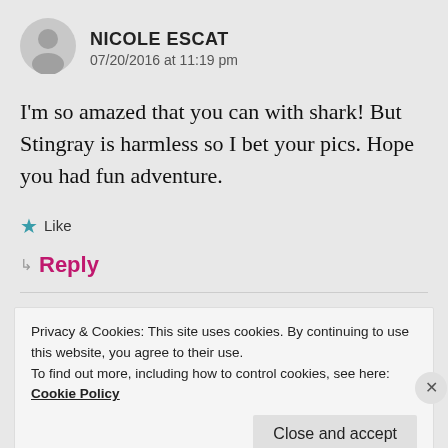[Figure (illustration): Gray circular avatar icon with silhouette of a person]
NICOLE ESCAT
07/20/2016 at 11:19 pm
I'm so amazed that you can with shark! But Stingray is harmless so I bet your pics. Hope you had fun adventure.
★ Like
↳ Reply
Privacy & Cookies: This site uses cookies. By continuing to use this website, you agree to their use.
To find out more, including how to control cookies, see here:
Cookie Policy
Close and accept